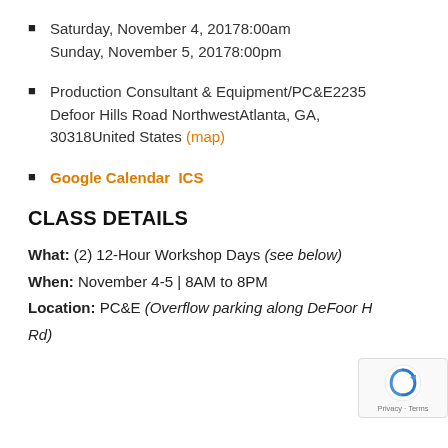Saturday, November 4, 20178:00am
Sunday, November 5, 20178:00pm
Production Consultant & Equipment/PC&E2235 Defoor Hills Road NorthwestAtlanta, GA, 30318United States (map)
Google Calendar  ICS
CLASS DETAILS
What: (2) 12-Hour Workshop Days (see below)
When: November 4-5 | 8AM to 8PM
Location: PC&E (Overflow parking along DeFoor H... Rd)